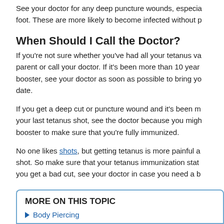See your doctor for any deep puncture wounds, especially on the foot. These are more likely to become infected without proper care.
When Should I Call the Doctor?
If you're not sure whether you've had all your tetanus vaccines, ask a parent or call your doctor. If it's been more than 10 years since your last booster, see your doctor as soon as possible to bring your immunizations up to date.
If you get a deep cut or puncture wound and it's been more than 5 years since your last tetanus shot, see the doctor because you might need a tetanus booster to make sure that you're fully immunized.
No one likes shots, but getting tetanus is more painful and dangerous than a shot. So make sure that your tetanus immunization status is current. If you get a bad cut, see your doctor in case you need a booster.
Reviewed by: Ryan J. Brogan, DO
Date reviewed: April 2022
MORE ON THIS TOPIC
Body Piercing